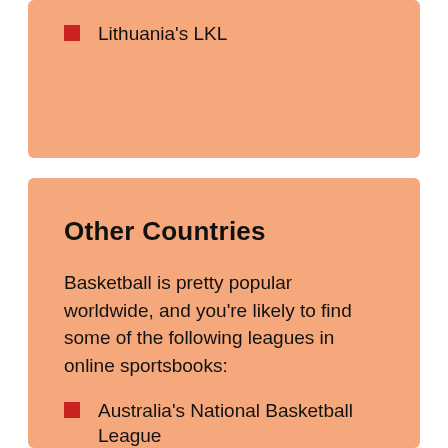Lithuania's LKL
Other Countries
Basketball is pretty popular worldwide, and you're likely to find some of the following leagues in online sportsbooks:
Australia's National Basketball League
Chinese Basketball Association
Liga Nacional de Básquet (Argentina)
Novo Basquete Brasil (Brazil)
National Basketball League of Canada (NBL)